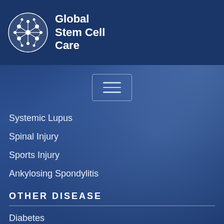[Figure (logo): Global Stem Cell Care logo with circular molecular/cell graphic and white text]
Systemic Lupus
Spinal Injury
Sports Injury
Ankylosing Spondylitis
OTHER DISEASE
Diabetes
Diabetic Foot Ulcer
Lupus
Down Syndrome
Wound
Platelet Rich Plasma